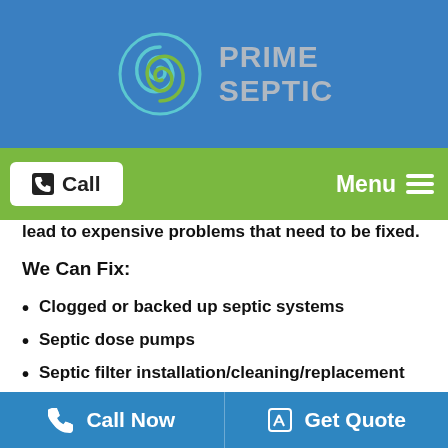[Figure (logo): Prime Septic logo with circular blue/green swirl icon and text 'PRIME SEPTIC']
Call  Menu
lead to expensive problems that need to be fixed.
We Can Fix:
Clogged or backed up septic systems
Septic dose pumps
Septic filter installation/cleaning/replacement
Septic alarm and float switches
Septic tank risers
Septic drain fields
Call Now  Get Quote